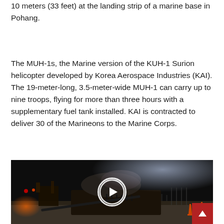10 meters (33 feet) at the landing strip of a marine base in Pohang.
The MUH-1s, the Marine version of the KUH-1 Surion helicopter developed by Korea Aerospace Industries (KAI). The 19-meter-long, 3.5-meter-wide MUH-1 can carry up to nine troops, flying for more than three hours with a supplementary fuel tank installed. KAI is contracted to deliver 30 of the Marineons to the Marine Corps.
[Figure (photo): Night scene at a military landing strip showing a crashed helicopter wreckage, emergency vehicles, personnel, and orange traffic cones. A play button overlay indicates this is a video thumbnail.]